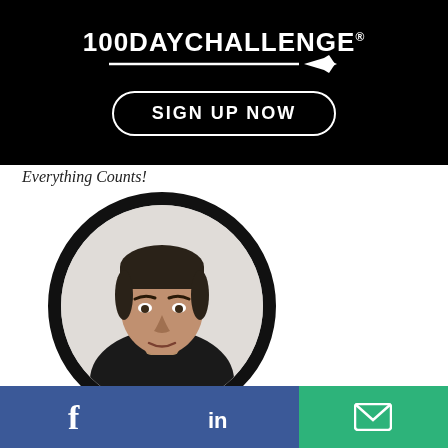[Figure (logo): 100DAYCHALLENGE logo with rocket underline on black banner background]
SIGN UP NOW
Everything Counts!
[Figure (photo): Circular portrait photo of a middle-aged man in a dark jacket against a light background, framed with a thick black circular border]
[Figure (infographic): Social sharing bar with Facebook (blue), LinkedIn (blue), and email/envelope (green) icons]